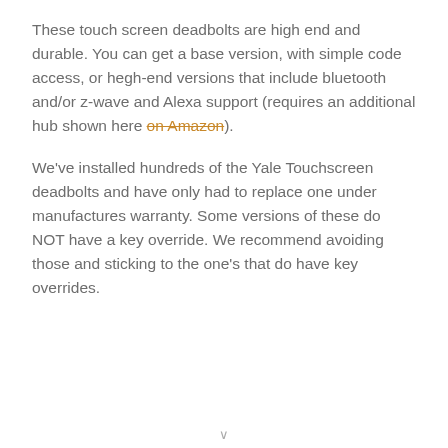These touch screen deadbolts are high end and durable. You can get a base version, with simple code access, or hegh-end versions that include bluetooth and/or z-wave and Alexa support (requires an additional hub shown here on Amazon).
We've installed hundreds of the Yale Touchscreen deadbolts and have only had to replace one under manufactures warranty. Some versions of these do NOT have a key override. We recommend avoiding those and sticking to the one's that do have key overrides.